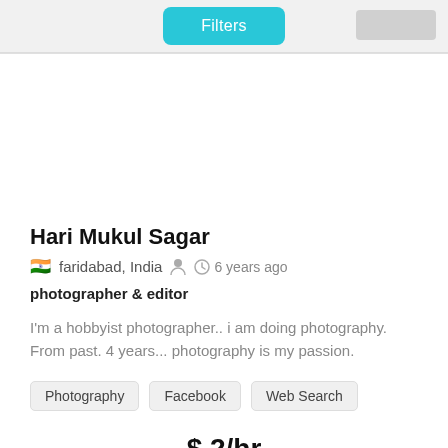[Figure (screenshot): Filters button UI element at top of page]
Hari Mukul Sagar
🇮🇳 faridabad, India  👤  🕐 6 years ago
photographer & editor
I'm a hobbyist photographer.. i am doing photography. From past. 4 years... photography is my passion.
Photography
Facebook
Web Search
$ 2/hr